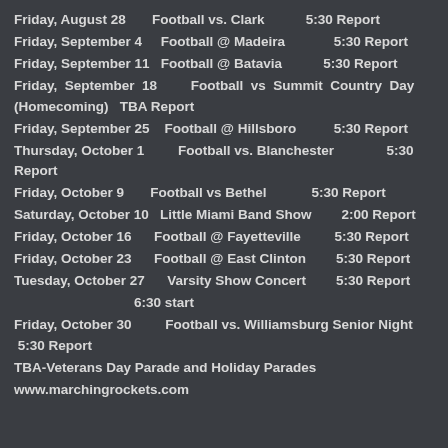Friday, August 28       Football vs. Clark          5:30 Report
Friday, September 4     Football @ Madeira            5:30 Report
Friday, September 11   Football @ Batavia           5:30 Report
Friday,  September  18        Football  vs  Summit  Country  Day (Homecoming)   TBA Report
Friday, September 25    Football @ Hillsboro          5:30 Report
Thursday, October 1         Football vs. Blanchester              5:30 Report
Friday, October 9       Football vs Bethel            5:30 Report
Saturday, October 10   Little Miami Band Show          2:00 Report
Friday, October 16      Football @ Fayetteville          5:30 Report
Friday, October 23      Football @ East Clinton         5:30 Report
Tuesday, October 27      Varsity Show Concert         5:30 Report
6:30 start
Friday, October 30         Football vs. Williamsburg Senior Night  5:30 Report
TBA-Veterans Day Parade and Holiday Parades
www.marchingrockets.com